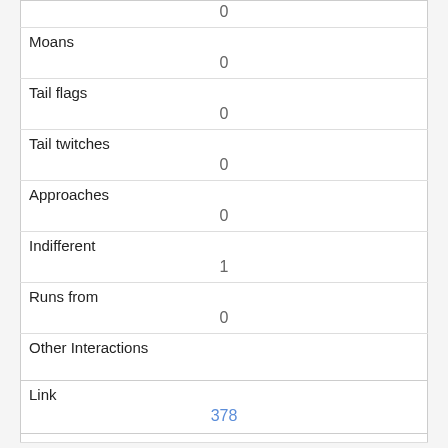|  | 0 |
| Moans | 0 |
| Tail flags | 0 |
| Tail twitches | 0 |
| Approaches | 0 |
| Indifferent | 1 |
| Runs from | 0 |
| Other Interactions |  |
| Lat/Long | POINT (-73.9757001944781 40.769499790547) |
| Link | 378 |